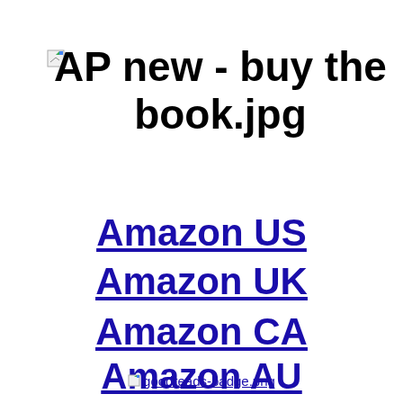[Figure (illustration): Broken image placeholder icon (small document icon with green/blue corner)]
AP new - buy the book.jpg
Amazon US
Amazon UK
Amazon CA
Amazon AU
[Figure (illustration): Broken image placeholder for goodreads-badge.png with link text 'goodreads-badge.png']